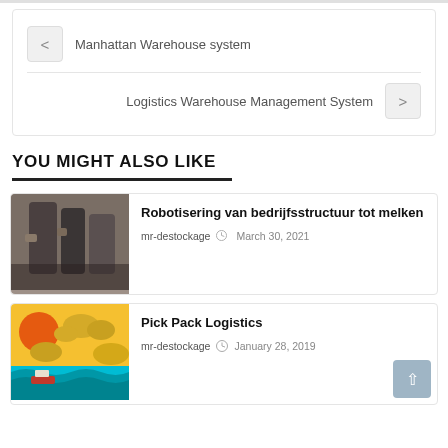< Manhattan Warehouse system
Logistics Warehouse Management System >
YOU MIGHT ALSO LIKE
[Figure (photo): Photo of thermos/flask containers, dark metallic, close-up]
Robotisering van bedrijfsstructuur tot melken
mr-destockage  March 30, 2021
[Figure (illustration): Illustrated scene with sun, clouds, ocean waves and a small ship on teal water, orange/yellow background]
Pick Pack Logistics
mr-destockage  January 28, 2019